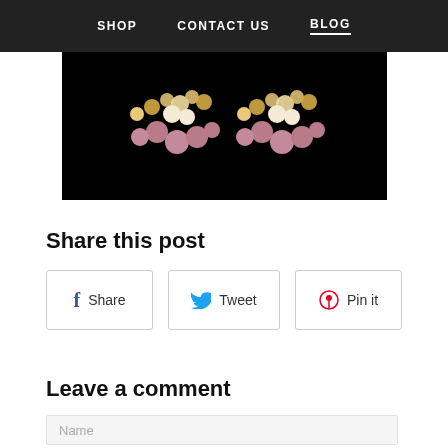SHOP   CONTACT US   BLOG
[Figure (photo): Jewelry earrings with gold and pink/mauve beads on a black background]
Share this post
Share  Tweet  Pin it
Leave a comment
Name